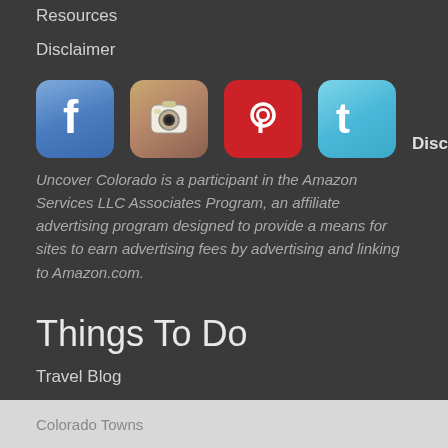Resources
Disclaimer
[Figure (illustration): Four social media icons in a row: Facebook (blue), Instagram (camera), Pinterest (red), Twitter (light blue)]
Disclosure: Uncover Colorado is a participant in the Amazon Services LLC Associates Program, an affiliate advertising program designed to provide a means for sites to earn advertising fees by advertising and linking to Amazon.com.
Things To Do
Travel Blog
Colorado Activities
Colorado Events
Colorado Towns